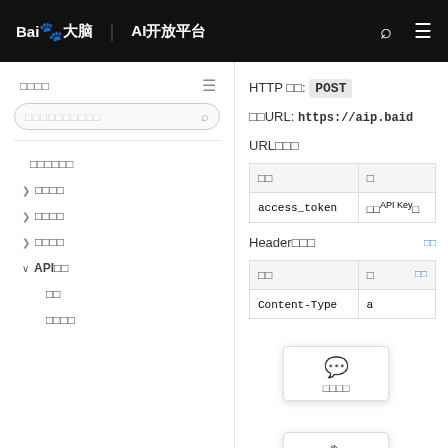百度大脑 AI开放平台
导航目录
搜索文档内容
文字识别合成
> 整体说明
> 调用方式
> 错误信息
∨ API文档
接口
请求说明
HTTP 方法: POST
请求URL: https://aip.baid
URL参数
| 参数 | 值 |
| --- | --- |
| access_token | 通过API Key和 |
Header参数
| 参数 | 值 |
| --- | --- |
| Content-Type | a |
意见反馈
编辑